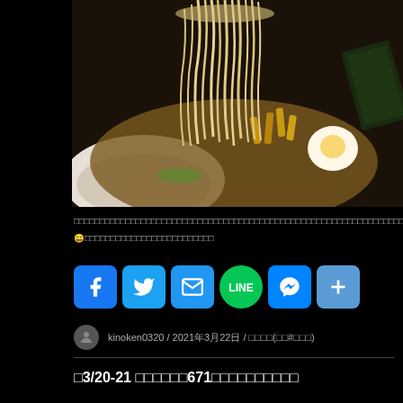[Figure (photo): Close-up photo of ramen noodles being lifted from a bowl, showing strands of noodles, broth, bamboo shoots, nori seaweed, and a soft-boiled egg in a white bowl]
□□□□□□□□□□□□□□□□□□□□□□□□□□□□□□□□□□□□□□□□□□□□□□□□□□□□□□□□□□□□□□□□□□□□□□□□□□□□□□
😄□□□□□□□□□□□□□□□□□□□□□□□□□
[Figure (infographic): Social share buttons: Facebook, Twitter, Email, LINE, Messenger, More]
kinoken0320 / 2021年3月22日 / □□□□(□□#□□□)
□3/20-21 □□□□□□671□□□□□□□□□□